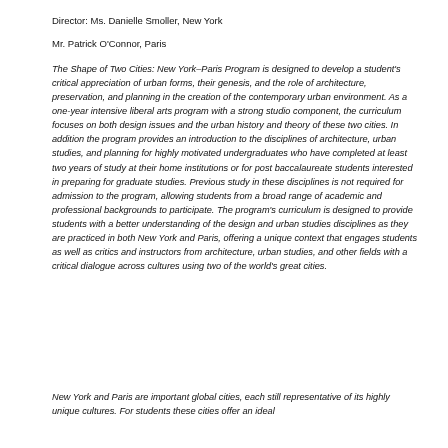Director: Ms. Danielle Smoller, New York
Mr. Patrick O'Connor, Paris
The Shape of Two Cities: New York–Paris Program is designed to develop a student's critical appreciation of urban forms, their genesis, and the role of architecture, preservation, and planning in the creation of the contemporary urban environment. As a one-year intensive liberal arts program with a strong studio component, the curriculum focuses on both design issues and the urban history and theory of these two cities. In addition the program provides an introduction to the disciplines of architecture, urban studies, and planning for highly motivated undergraduates who have completed at least two years of study at their home institutions or for post baccalaureate students interested in preparing for graduate studies. Previous study in these disciplines is not required for admission to the program, allowing students from a broad range of academic and professional backgrounds to participate. The program's curriculum is designed to provide students with a better understanding of the design and urban studies disciplines as they are practiced in both New York and Paris, offering a unique context that engages students as well as critics and instructors from architecture, urban studies, and other fields with a critical dialogue across cultures using two of the world's great cities.
New York and Paris are important global cities, each still representative of its highly unique cultures. For students these cities offer an ideal